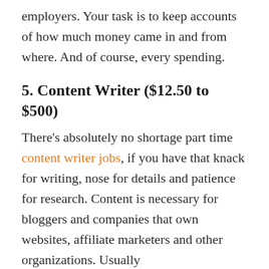employers. Your task is to keep accounts of how much money came in and from where. And of course, every spending.
5. Content Writer ($12.50 to $500)
There's absolutely no shortage part time content writer jobs, if you have that knack for writing, nose for details and patience for research. Content is necessary for bloggers and companies that own websites, affiliate marketers and other organizations. Usually